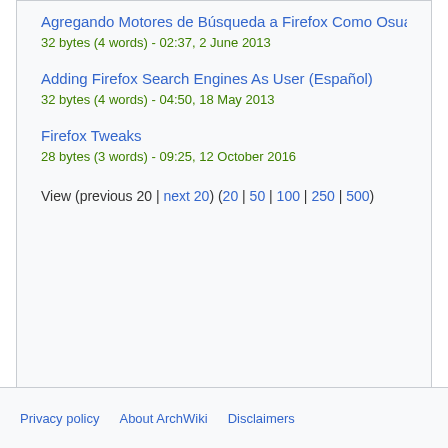Agregando Motores de Búsqueda a Firefox Como Osuario
32 bytes (4 words) - 02:37, 2 June 2013
Adding Firefox Search Engines As User (Español)
32 bytes (4 words) - 04:50, 18 May 2013
Firefox Tweaks
28 bytes (3 words) - 09:25, 12 October 2016
View (previous 20 | next 20) (20 | 50 | 100 | 250 | 500)
Privacy policy   About ArchWiki   Disclaimers